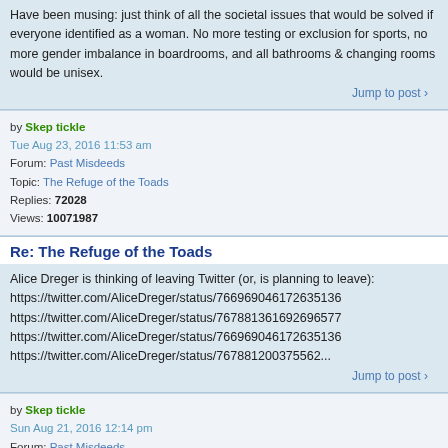Have been musing: just think of all the societal issues that would be solved if everyone identified as a woman. No more testing or exclusion for sports, no more gender imbalance in boardrooms, and all bathrooms & changing rooms would be unisex.
Jump to post >
by Skep tickle
Tue Aug 23, 2016 11:53 am
Forum: Past Misdeeds
Topic: The Refuge of the Toads
Replies: 72028
Views: 10071987
Re: The Refuge of the Toads
Alice Dreger is thinking of leaving Twitter (or, is planning to leave):
https://twitter.com/AliceDreger/status/766969046172635136
https://twitter.com/AliceDreger/status/767881361692696577
https://twitter.com/AliceDreger/status/766969046172635136
https://twitter.com/AliceDreger/status/767881200375562...
Jump to post >
by Skep tickle
Sun Aug 21, 2016 12:14 pm
Forum: Past Misdeeds
Topic: The Refuge of the Toads
Replies: 72028
Views: 10071987
Re: The Refuge of the Toads